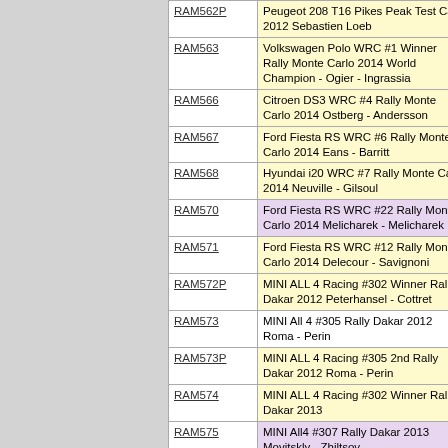| Code | Description |
| --- | --- |
| RAM562P | Peugeot 208 T16 Pikes Peak Test Car 2012 Sebastien Loeb |
| RAM563 | Volkswagen Polo WRC #1 Winner Rally Monte Carlo 2014 World Champion - Ogier - Ingrassia |
| RAM566 | Citroen DS3 WRC #4 Rally Monte Carlo 2014 Ostberg - Andersson |
| RAM567 | Ford Fiesta RS WRC #6 Rally Monte Carlo 2014 Eans - Barritt |
| RAM568 | Hyundai i20 WRC #7 Rally Monte Carlo 2014 Neuville - Gilsoul |
| RAM570 | Ford Fiesta RS WRC #22 Rally Monte Carlo 2014 Melicharek - Melicharek |
| RAM571 | Ford Fiesta RS WRC #12 Rally Monte Carlo 2014 Delecour - Savignoni |
| RAM572P | MINI ALL 4 Racing #302 Winner Rally Dakar 2012 Peterhansel - Cottret |
| RAM573 | MINI All 4 #305 Rally Dakar 2012 Roma - Perin |
| RAM573P | MINI ALL 4 Racing #305 2nd Rally Dakar 2012 Roma - Perin |
| RAM574 | MINI ALL 4 Racing #302 Winner Rally Dakar 2013 |
| RAM575 | MINI All4 #307 Rally Dakar 2013 Movitskly - Zhiltsov |
| RAM575P | MINI All4 #307 Rally Dakar 2013 Movitskly - Zhiltsov |
| RAM577 | MINI ALL 4 Racing #N300 2nd Rally Dakar 2014 Peterhansel - Cottret |
| RAM577P | MINI All 4 #300 2nd Dakar 2014 Peterhansel - Cottret |
| RAM586 | Hyundai J20 #1 Winner Rally D'Antibes 2014 Bouffier - Panseri |
| RAM591 | Ford Fiesta RAC #36 Winner WRC2 Rally Australia 2014 Attiyah - Bernacchini |
| RAM601 | Ford Fiesta RS WRC #15 Rally Catalunya 2014 Block- Gelsomino |